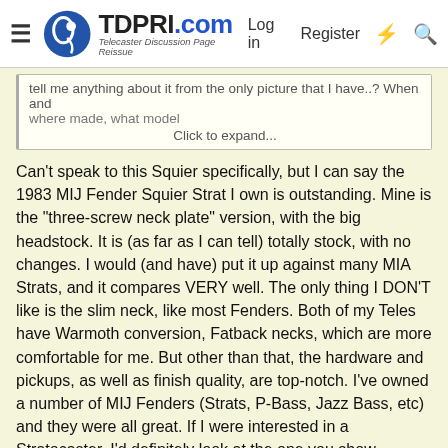TDPRI.com — Telecaster Discussion Page Reissue. Log in  Register
tell me anything about it from the only picture that I have..? When and where made, what model  Click to expand...
Can't speak to this Squier specifically, but I can say the 1983 MIJ Fender Squier Strat I own is outstanding. Mine is the "three-screw neck plate" version, with the big headstock. It is (as far as I can tell) totally stock, with no changes. I would (and have) put it up against many MIA Strats, and it compares VERY well. The only thing I DON'T like is the slim neck, like most Fenders. Both of my Teles have Warmoth conversion, Fatback necks, which are more comfortable for me. But other than that, the hardware and pickups, as well as finish quality, are top-notch. I've owned a number of MIJ Fenders (Strats, P-Bass, Jazz Bass, etc) and they were all great. If I were interested in a Stratocaster, I'd definitely look at the one you show.
BTW.....price?